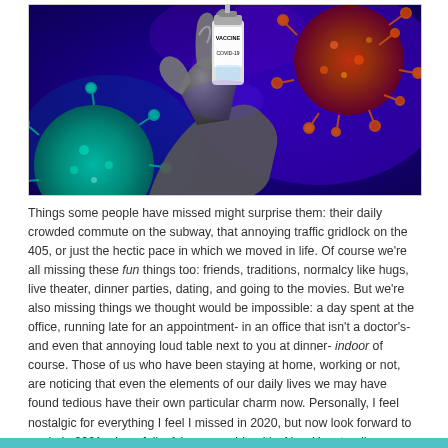[Figure (photo): Photo of a gloved hand holding a COVID-19 vaccine vial, surrounded by colorful 3D coronavirus particles on a deep blue/purple background. The vaccine vial is labeled 'VACCINE COVID-19'.]
Things some people have missed might surprise them: their daily crowded commute on the subway, that annoying traffic gridlock on the 405, or just the hectic pace in which we moved in life. Of course we're all missing these fun things too: friends, traditions, normalcy like hugs, live theater, dinner parties, dating, and going to the movies. But we're also missing things we thought would be impossible: a day spent at the office, running late for an appointment- in an office that isn't a doctor's- and even that annoying loud table next to you at dinner- indoor of course. Those of us who have been staying at home, working or not, are noticing that even the elements of our daily lives we may have found tedious have their own particular charm now. Personally, I feel nostalgic for everything I feel I missed in 2020, but now look forward to again in 2021…hopefully. A happy and healthy New Year to all.